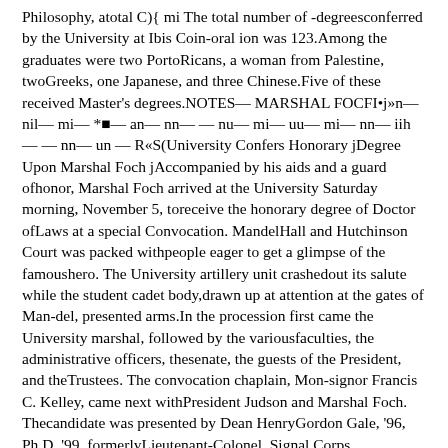Philosophy, atotal C){ mi The total number of -degreesconferred by the University at Ibis Coin-oral ion was 123.Among the graduates were two PortoRicans, a woman from Palestine, twoGreeks, one Japanese, and three Chinese.Five of these received Master's degrees.NOTES— MARSHAL FOCFI•j»n— nil— mi— *■— an— nn— — nu— mi— uu— mi— nn— iih— — nn— un — R«S(University Confers Honorary jDegree Upon Marshal Foch jAccompanied by his aids and a guard ofhonor, Marshal Foch arrived at the University Saturday morning, November 5, toreceive the honorary degree of Doctor ofLaws at a special Convocation. MandelHall and Hutchinson Court was packed withpeople eager to get a glimpse of the famoushero. The University artillery unit crashedout its salute while the student cadet body,drawn up at attention at the gates of Man-del, presented arms.In the procession first came the University marshal, followed by the variousfaculties, the administrative officers, thesenate, the guests of the President, and theTrustees. The convocation chaplain, Mon-signor Francis C. Kelley, came next withPresident Judson and Marshal Foch. Thecandidate was presented by Dean HenryGordon Gale, '96, Ph.D. '99, formerlyLieutenant-Colonel, Signal Corps, UnitedStates Army, and under command of Marshal Foch.In presenting the diploma President Judson said: "Marshal of France, Commander-in-Chief of the Allied Armies, Professor ofStrategy and Tactics and chief of the Ecolede Guerre, author of an authoritative workon the principles of war, greatest leader ofmen in the world's greatest